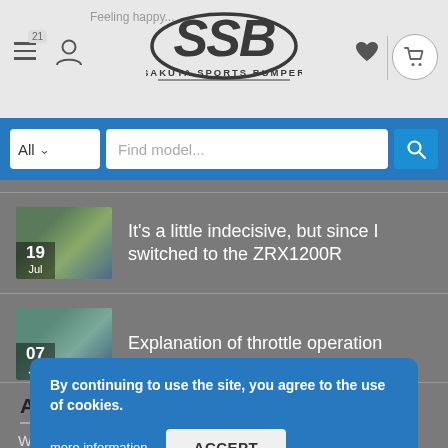SSB SAKUTA SPORTS BUMPER - Feeling happy...
All  Find model...
19 Jul - It's a little indecisive, but since I switched to the ZRX1200R
07 Jul - Explanation of throttle operation
ABOUT US
Welcome... Our workshop is dedicated to providing you with the finest of quality motorcycle protection and optimization equipment right out of Tokyo Japan. Our goal is to protect and preserve both the
By continuing to use the site, you agree to the use of cookies. more information  ACCEPT